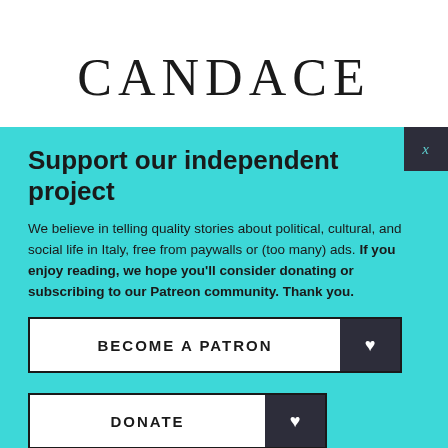CANDACE
Support our independent project
We believe in telling quality stories about political, cultural, and social life in Italy, free from paywalls or (too many) ads. If you enjoy reading, we hope you'll consider donating or subscribing to our Patreon community. Thank you.
BECOME A PATRON
DONATE
Follow us: Facebook Instagram Twitter